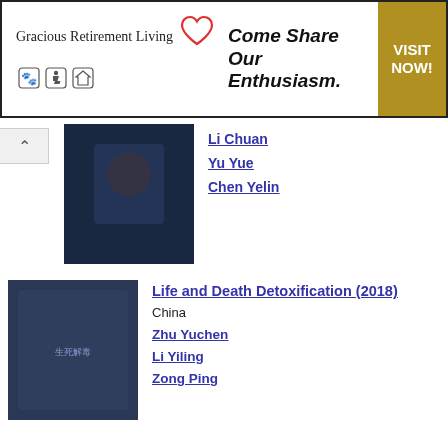[Figure (other): Advertisement banner for Gracious Retirement Living with tagline 'Come Share Our Enthusiasm.' and 'VISIT NOW!' call to action]
Li Chuan
Yu Yue
Chen Yelin
Life and Death Detoxification (2018)
China
Zhu Yuchen
Li Yiling
Zong Ping
Lost in Love (2018)
China
Chen Kun
Regina Wan
David Wang
Love's Lies (2018)
China